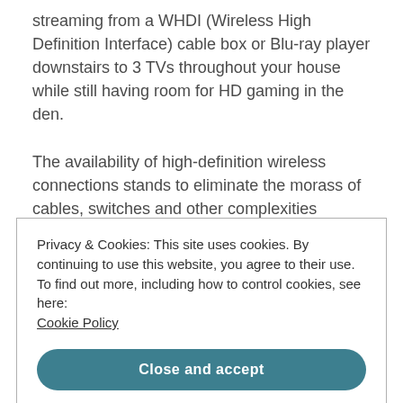streaming from a WHDI (Wireless High Definition Interface) cable box or Blu-ray player downstairs to 3 TVs throughout your house while still having room for HD gaming in the den.

The availability of high-definition wireless connections stands to eliminate the morass of cables, switches and other complexities traditionally needed to support the wide variety of devices consumers have and will continue to buy. With high-definition wireless links,
Privacy & Cookies: This site uses cookies. By continuing to use this website, you agree to their use.
To find out more, including how to control cookies, see here:
Cookie Policy
Close and accept